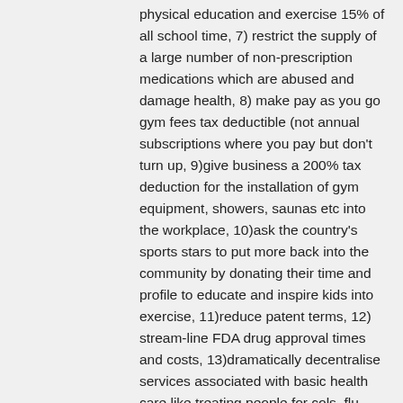physical education and exercise 15% of all school time, 7) restrict the supply of a large number of non-prescription medications which are abused and damage health, 8) make pay as you go gym fees tax deductible (not annual subscriptions where you pay but don't turn up, 9)give business a 200% tax deduction for the installation of gym equipment, showers, saunas etc into the workplace, 10)ask the country's sports stars to put more back into the community by donating their time and profile to educate and inspire kids into exercise, 11)reduce patent terms, 12) stream-line FDA drug approval times and costs, 13)dramatically decentralise services associated with basic health care like treating people for cols, flu, basic infections where anti-biotics are required, 14) dramatically decentralise the service of preventive medicine like flu shots, hepatitis vaccinations etc – its just giving a needle, does a it really need to be delivered by a qualified nurse?, 15) dramatically de-centralise testing and diagnostics. For example large companies could provide yearly weighing, blood pressure tests, liver test, blood sugar